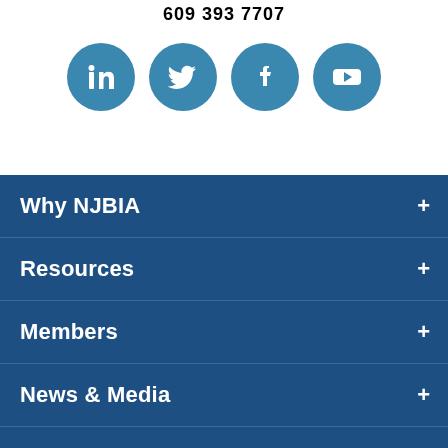609 393 7707
[Figure (illustration): Four social media icons (LinkedIn, Twitter, Facebook, YouTube) as teal/blue circular buttons]
Why NJBIA +
Resources +
Members +
News & Media +
Company +